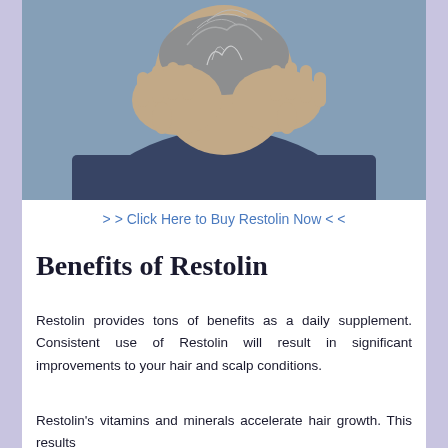[Figure (photo): A person with thinning gray hair pulling their hair with both hands, head bowed, wearing a dark jacket, on a blurred blue-gray background.]
> > Click Here to Buy Restolin Now < <
Benefits of Restolin
Restolin provides tons of benefits as a daily supplement. Consistent use of Restolin will result in significant improvements to your hair and scalp conditions.
Restolin's vitamins and minerals accelerate hair growth. This results